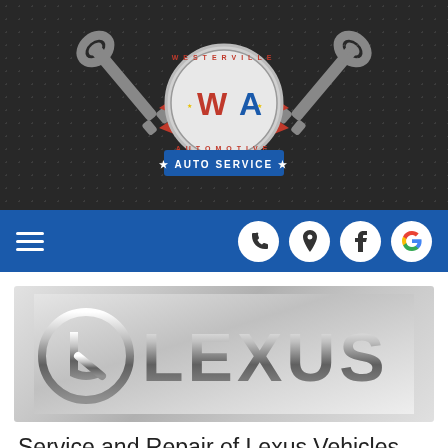[Figure (logo): Westerville Automotive logo with crossed wrenches, circular badge reading WESTERVILLE AUTOMOTIVE, WA initials in red and blue, wings, and AUTO SERVICE banner on dark textured background]
[Figure (screenshot): Blue navigation bar with hamburger menu icon on the left and four white circular icons (phone, location pin, Facebook, Google) on the right]
[Figure (photo): Lexus chrome logo on silver/grey metallic background]
Service and Repair of Lexus Vehicles
The best thing about driving a Lexus is that you get Toyota reliability coupled with cutting edge technology,